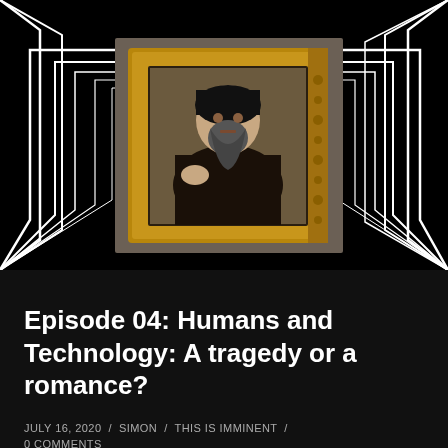[Figure (photo): Video thumbnail showing a Renaissance-style portrait painting of a bearded monk in black robes, displayed in an ornate gold frame, set against a black background with stylized white line frame decorations radiating outward. Video player controls visible at bottom of thumbnail.]
Episode 04: Humans and Technology: A tragedy or a romance?
JULY 16, 2020 / SIMON / THIS IS IMMINENT / 0 COMMENTS